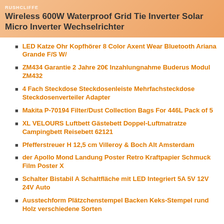RUSHCLIFFE
Wireless 600W Waterproof Grid Tie Inverter Solar Micro Inverter Wechselrichter
LED Katze Ohr Kopfhörer 8 Color Axent Wear Bluetooth Ariana Grande F/S W/
ZM434 Garantie 2 Jahre 20€ Inzahlungnahme Buderus Modul ZM432
4 Fach Steckdose Steckdosenleiste Mehrfachsteckdose Steckdosenverteiler Adapter
Makita P-70194 Filter/Dust Collection Bags For 446L Pack of 5
XL VELOURS Luftbett Gästebett Doppel-Luftmatratze Campingbett Reisebett 62121
Pfefferstreuer H 12,5 cm Villeroy & Boch Alt Amsterdam
der Apollo Mond Landung Poster Retro Kraftpapier Schmuck Film Poster X
Schalter Bistabil A Schaltfläche mit LED Integriert 5A 5V 12V 24V Auto
Ausstechform Plätzchenstempel Backen Keks-Stempel rund Holz verschiedene Sorten